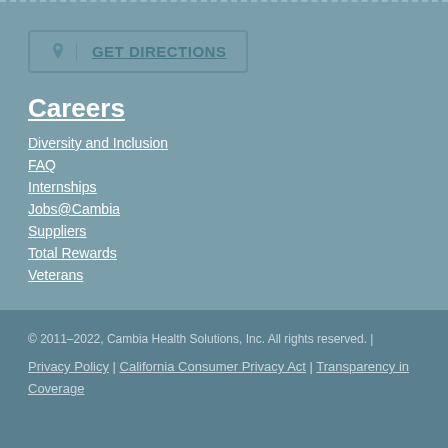GET DIRECTIONS
Careers
Diversity and Inclusion
FAQ
Internships
Jobs@Cambia
Suppliers
Total Rewards
Veterans
© 2011–2022, Cambia Health Solutions, Inc. All rights reserved. | Privacy Policy | California Consumer Privacy Act | Transparency in Coverage